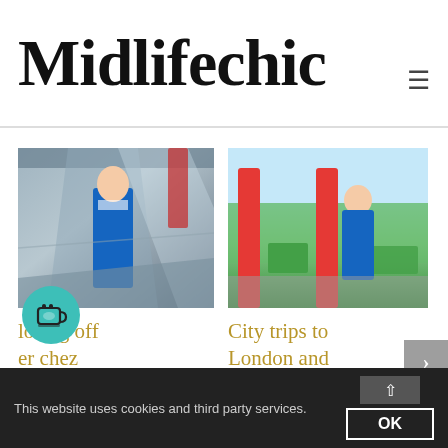Midlifechic
[Figure (photo): Woman in blue blazer suit at a train station interior with glass and steel architecture]
[Figure (photo): Woman in blue off-shoulder dress at an outdoor train platform with red pillars and green trees]
losing off er chez echic – it's oodbye for a
City trips to London and Glasgow – what I did and wore
This website uses cookies and third party services.
OK